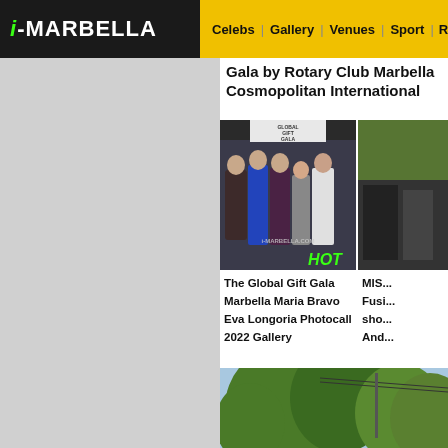i-MARBELLA | Celebs | Gallery | Venues | Sport | Restau...
Gala by Rotary Club Marbella Cosmopolitan International
[Figure (photo): Group photo at Global Gift Gala Marbella with watermark i-MARBELLA.COM and HOT badge]
The Global Gift Gala Marbella Maria Bravo Eva Longoria Photocall 2022 Gallery
[Figure (photo): Partial photo on right side showing greenery/outdoor scene - MISS... Fusi... sho... And...]
MISS Fusi show Anda
[Figure (photo): Bottom photo showing trees and outdoor scene with power lines]